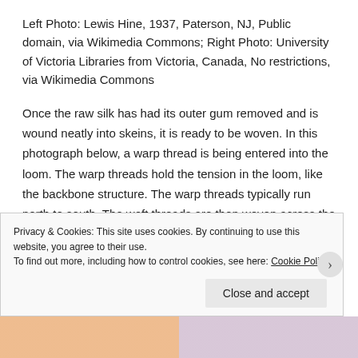Left Photo: Lewis Hine, 1937, Paterson, NJ, Public domain, via Wikimedia Commons; Right Photo: University of Victoria Libraries from Victoria, Canada, No restrictions, via Wikimedia Commons
Once the raw silk has had its outer gum removed and is wound neatly into skeins, it is ready to be woven. In this photograph below, a warp thread is being entered into the loom. The warp threads hold the tension in the loom, like the backbone structure. The warp threads typically run north to south. The weft threads are then woven across the warp threads and are typically the threads most visible on the surface of the woven fabric.
Privacy & Cookies: This site uses cookies. By continuing to use this website, you agree to their use.
To find out more, including how to control cookies, see here: Cookie Policy